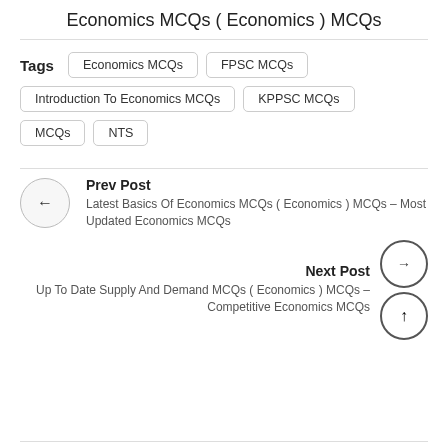Economics MCQs ( Economics ) MCQs
Tags  Economics MCQs  FPSC MCQs  Introduction To Economics MCQs  KPPSC MCQs  MCQs  NTS
Prev Post
Latest Basics Of Economics MCQs ( Economics ) MCQs – Most Updated Economics MCQs
Next Post
Up To Date Supply And Demand MCQs ( Economics ) MCQs – Competitive Economics MCQs